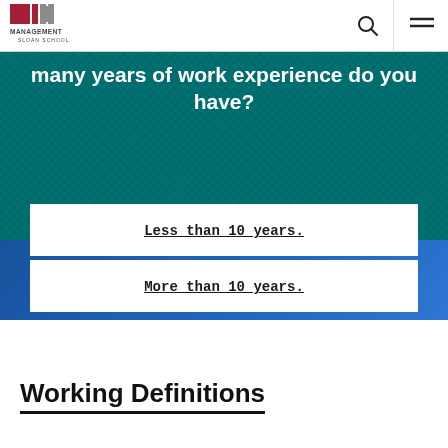MIT Management Sloan School
many years of work experience do you have?
Less than 10 years.
More than 10 years.
Working Definitions